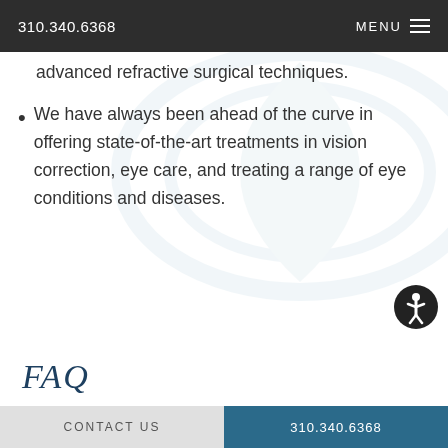310.340.6368  MENU
We were one of the first practices to perform advanced refractive surgical techniques.
We have always been ahead of the curve in offering state-of-the-art treatments in vision correction, eye care, and treating a range of eye conditions and diseases.
FAQ
WHAT ARE THE BENEFITS OF LASER
CONTACT US  310.340.6368